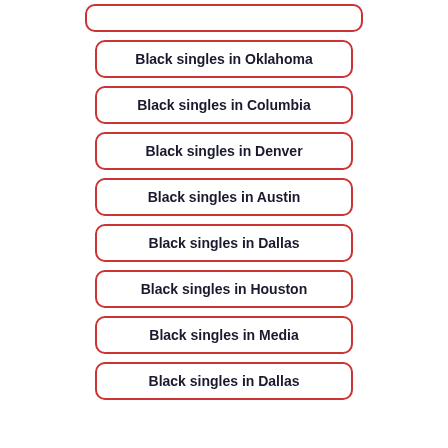Black singles in Oklahoma
Black singles in Columbia
Black singles in Denver
Black singles in Austin
Black singles in Dallas
Black singles in Houston
Black singles in Media
Black singles in Dallas